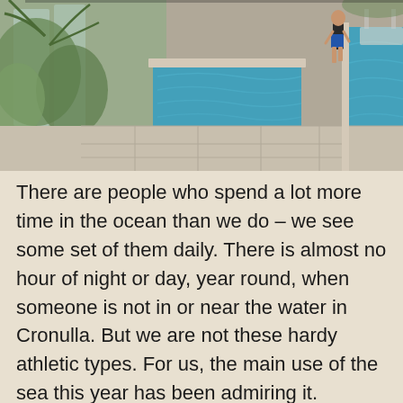[Figure (photo): Outdoor swimming pool area with light stone/concrete tile decking, glass fencing on the left with tropical plants visible behind it, two pools or pool sections with blue water, and a person walking in the background on the right wearing dark shorts.]
There are people who spend a lot more time in the ocean than we do – we see some set of them daily. There is almost no hour of night or day, year round, when someone is not in or near the water in Cronulla. But we are not these hardy athletic types. For us, the main use of the sea this year has been admiring it.